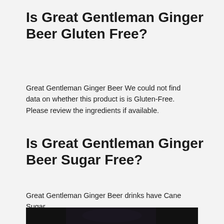Is Great Gentleman Ginger Beer Gluten Free?
Great Gentleman Ginger Beer We could not find data on whether this product is is Gluten-Free. Please review the ingredients if available.
Is Great Gentleman Ginger Beer Sugar Free?
Great Gentleman Ginger Beer drinks have Cane Sugar
[Figure (photo): Dark photograph, partially visible at bottom of page, appears to show a bottle or drink product in low lighting.]